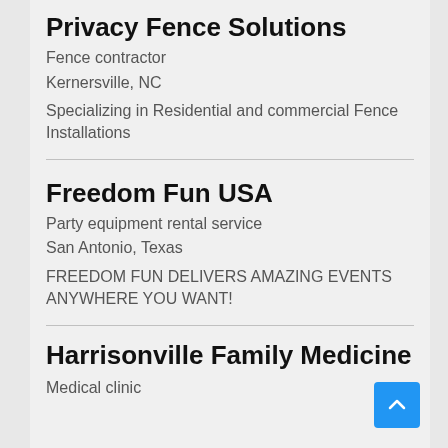Privacy Fence Solutions
Fence contractor
Kernersville, NC
Specializing in Residential and commercial Fence Installations
Freedom Fun USA
Party equipment rental service
San Antonio, Texas
FREEDOM FUN DELIVERS AMAZING EVENTS ANYWHERE YOU WANT!
Harrisonville Family Medicine
Medical clinic